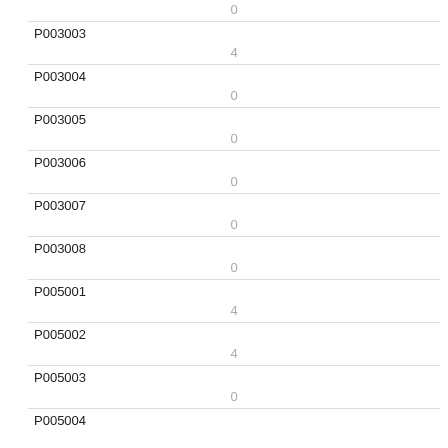| Code | Value |
| --- | --- |
|  | 0 |
| P003003 | 4 |
| P003004 | 0 |
| P003005 | 0 |
| P003006 | 0 |
| P003007 | 0 |
| P003008 | 0 |
| P005001 | 4 |
| P005002 | 4 |
| P005003 | 0 |
| P005004 |  |